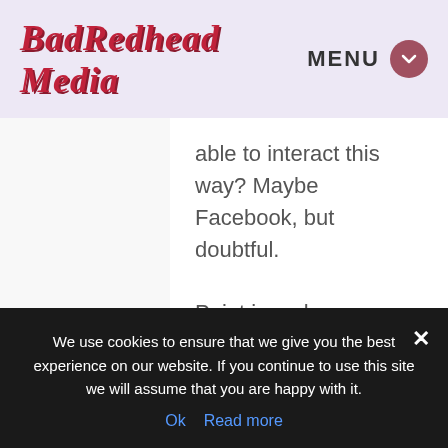BadRedhead Media  MENU
able to interact this way? Maybe Facebook, but doubtful.
Point is, unless you have a inordinate amount of time to do nothing but follow gossip (or if that's your job), stop following Bieber, Gaga, and (after the Superbowl, of course), the Athlete Arrest of the Day. OR, if you write about this stuff, great. Otherwise, you are
We use cookies to ensure that we give you the best experience on our website. If you continue to use this site we will assume that you are happy with it.
Ok   Read more